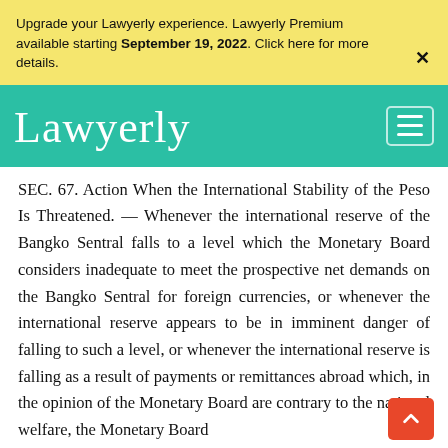Upgrade your Lawyerly experience. Lawyerly Premium available starting September 19, 2022. Click here for more details.
[Figure (logo): Lawyerly logo in white cursive script on teal background, with hamburger menu icon on the right]
SEC. 67. Action When the International Stability of the Peso Is Threatened. — Whenever the international reserve of the Bangko Sentral falls to a level which the Monetary Board considers inadequate to meet the prospective net demands on the Bangko Sentral for foreign currencies, or whenever the international reserve appears to be in imminent danger of falling to such a level, or whenever the international reserve is falling as a result of payments or remittances abroad which, in the opinion of the Monetary Board are contrary to the national welfare, the Monetary Board